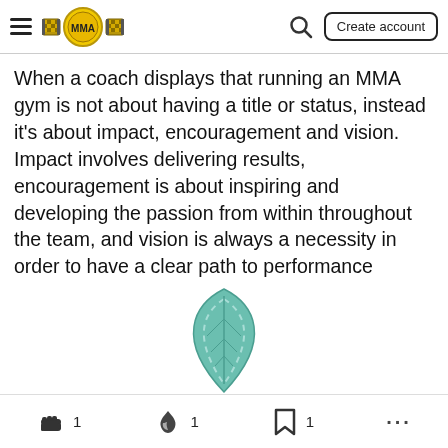MMA [logo] — navigation bar with hamburger menu, MMA belt logo, search icon, Create account button
When a coach displays that running an MMA gym is not about having a title or status, instead it's about impact, encouragement and vision. Impact involves delivering results, encouragement is about inspiring and developing the passion from within throughout the team, and vision is always a necessity in order to have a clear path to performance success. Identify this and you know you have found a good foundation for development and growth.
[Figure (illustration): Partial teal/green leaf illustration at bottom center of page]
Action bar with icons: fist (1), fire/spark (1), bookmark (1), more options (...)